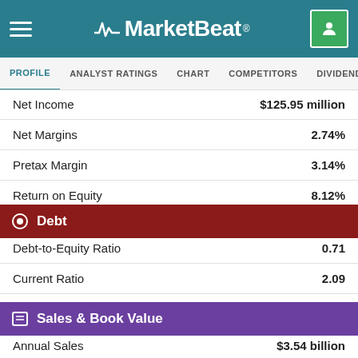MarketBeat
PROFILE | ANALYST RATINGS | CHART | COMPETITORS | DIVIDEND | EARNINGS
| Metric | Value |
| --- | --- |
| Net Income | $125.95 million |
| Net Margins | 2.74% |
| Pretax Margin | 3.14% |
| Return on Equity | 8.12% |
| Return on Assets | 2.97% |
Debt
| Metric | Value |
| --- | --- |
| Debt-to-Equity Ratio | 0.71 |
| Current Ratio | 2.09 |
| Quick Ratio | 1.40 |
Sales & Book Value
| Metric | Value |
| --- | --- |
| Annual Sales | $3.54 billion |
| Price / Sales | 1.21 |